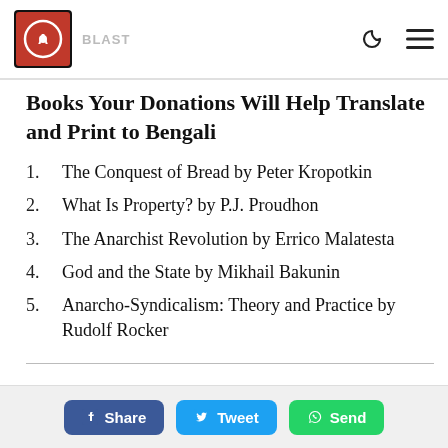IAFF [logo] [site title] [moon icon] [menu icon]
Books Your Donations Will Help Translate and Print to Bengali
The Conquest of Bread by Peter Kropotkin
What Is Property? by P.J. Proudhon
The Anarchist Revolution by Errico Malatesta
God and the State by Mikhail Bakunin
Anarcho-Syndicalism: Theory and Practice by Rudolf Rocker
Share  Tweet  Send